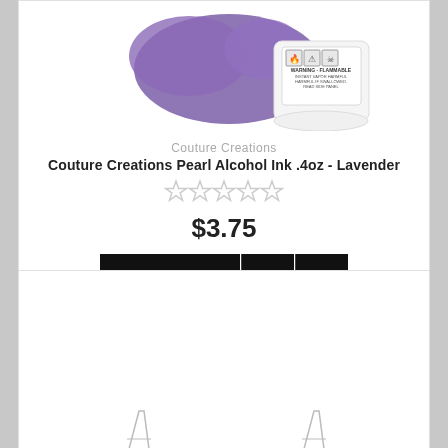[Figure (photo): Couture Creations Pearl Alcohol Ink bottle with lavender ink splash, showing warning label with flammable hazard symbols]
Couture Creations
Couture Creations Pearl Alcohol Ink .4oz - Lavender
[Figure (other): 5 empty/outline star rating icons]
$3.75
[Figure (other): ADD TO CART button, compare icon button, and heart/wishlist icon button]
[Figure (photo): Partial product image in second listing card, showing bottom of glassware or product]